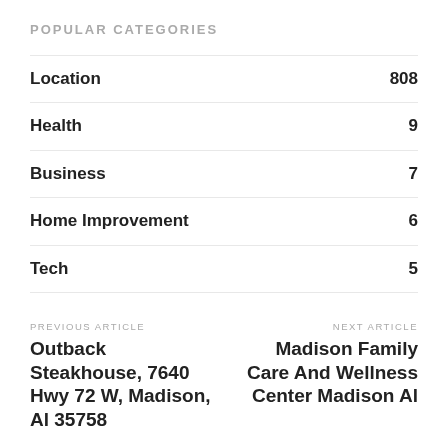POPULAR CATEGORIES
Location 808
Health 9
Business 7
Home Improvement 6
Tech 5
PREVIOUS ARTICLE
Outback Steakhouse, 7640 Hwy 72 W, Madison, Al 35758
NEXT ARTICLE
Madison Family Care And Wellness Center Madison Al